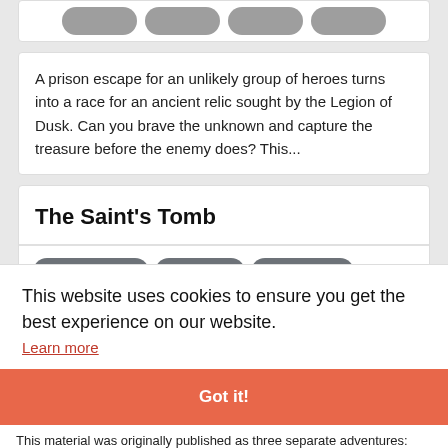[Figure (screenshot): Partial view of top navigation buttons (gray pill-shaped buttons cut off at top)]
A prison escape for an unlikely group of heroes turns into a race for an ancient relic sought by the Legion of Dusk. Can you brave the unknown and capture the treasure before the enemy does? This...
The Saint's Tomb
5TH EDITION
LEVEL 1
30 PAGES
1  0
The Saint's Tomb is a single-player gamebook-style adventure that is playable in your browser. You make a 1st level character sheet, roll
This website uses cookies to ensure you get the best experience on our website.
Learn more
Got it!
This material was originally published as three separate adventures: